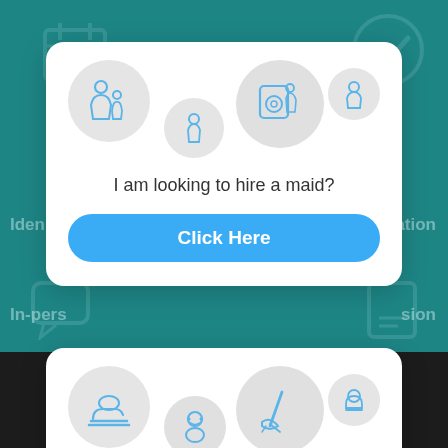[Figure (screenshot): App UI screenshot showing two white cards on a teal background. Card 1 has icons (family, child, laundry, person), text 'I am looking to hire a maid?' and a blue 'Click Here' button. Card 2 shows icons (hand with money, baby, broom, chef hat) and text 'I am looking for a job'. Background shows teal with decorative icons and labels 'Iden...', '...ication', 'In-pers...', '...sion'.]